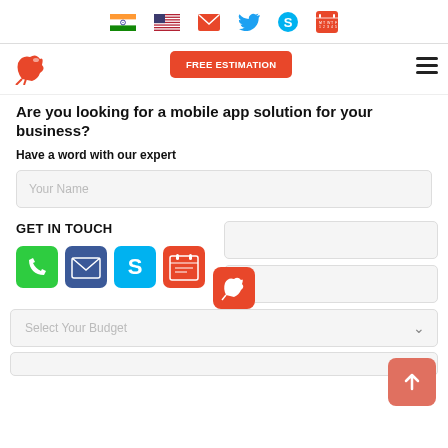Navigation icons: India flag, US flag, email, Twitter, Skype, calendar
[Figure (screenshot): Logo bird icon]
FREE ESTIMATION
Are you looking for a mobile app solution for your business?
Have a word with our expert
Your Name
GET IN TOUCH
[Figure (infographic): Contact icons: phone (green), email (dark blue), Skype (light blue), calendar (red)]
Select Your Budget